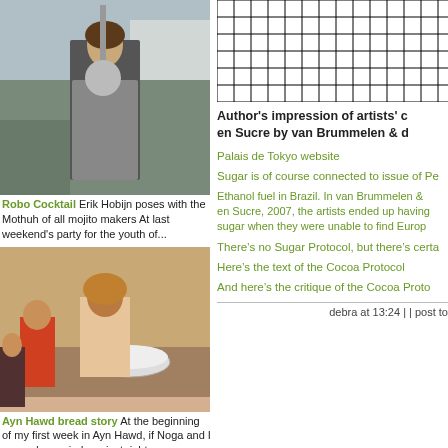[Figure (photo): Man holding a large silver ball on a stick at an outdoor festival]
Robo Cocktail Erik Hobijn poses with the Mothuh of all mojito makers At last weekend's party for the youth of...
[Figure (photo): Women and children around a table with a bowl, likely bread making scene]
Ayn Hawd bread story At the beginning of my first week in Ayn Hawd, if Noga and I opened our windows just right, we c...
[Figure (photo): Partial image at bottom left]
[Figure (other): Grid/calendar pattern in black and white]
Author's impression of artists' c en Sucre by van Brummelen & d
Palais de Tokyo website
Sugar is of course connected to issue of Pe
Ethanol fuel in Brazil. In van Brummelen & en Sucre, 2007, the artists ended up having sugar when they were unable to find Europ
There’s no Sugar Protocol, but there’s certa
Here’s the text of the Cocoa Protocol
And here’s the critique of the Cocoa Proto
debra at 13:24 | | post to